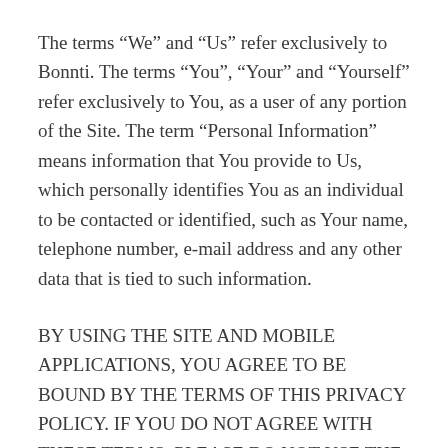The terms “We” and “Us” refer exclusively to Bonnti. The terms “You”, “Your” and “Yourself” refer exclusively to You, as a user of any portion of the Site. The term “Personal Information” means information that You provide to Us, which personally identifies You as an individual to be contacted or identified, such as Your name, telephone number, e-mail address and any other data that is tied to such information.
BY USING THE SITE AND MOBILE APPLICATIONS, YOU AGREE TO BE BOUND BY THE TERMS OF THIS PRIVACY POLICY. IF YOU DO NOT AGREE WITH THESE TERMS, PLEASE DO NOT USE THE